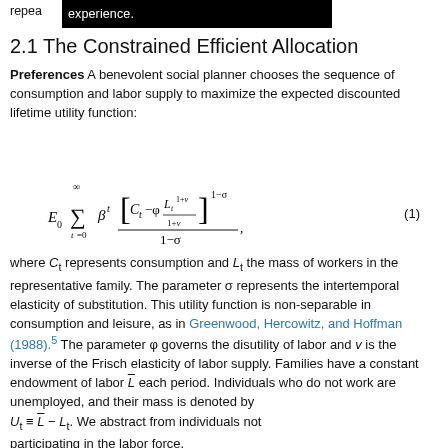repea  experience.
2.1 The Constrained Efficient Allocation
Preferences A benevolent social planner chooses the sequence of consumption and labor supply to maximize the expected discounted lifetime utility function:
where C_t represents consumption and L_t the mass of workers in the representative family. The parameter σ represents the intertemporal elasticity of substitution. This utility function is non-separable in consumption and leisure, as in Greenwood, Hercowitz, and Hoffman (1988).5 The parameter φ governs the disutility of labor and v is the inverse of the Frisch elasticity of labor supply. Families have a constant endowment of labor L̄ each period. Individuals who do not work are unemployed, and their mass is denoted by U_t = L̄ − L_t. We abstract from individuals not participating in the labor force.